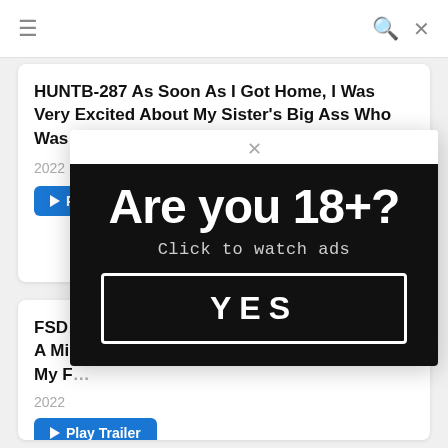≡  🔍  ✕
HUNTB-287 As Soon As I Got Home, I Was Very Excited About My Sister's Big Ass Who Was Unprotected In Black Pantyho...
2022
▶ Play Trailer
FSD... on. A Mi... That My F...
2022
▶ Play Trailer
[Figure (screenshot): Age verification modal overlay with black background showing 'Are you 18+?' headline, 'Click to watch ads' subtext, and a YES button with white border. A close (×) button appears at the top of the white modal container.]